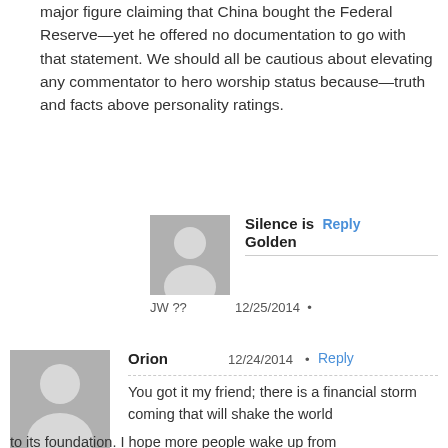major figure claiming that China bought the Federal Reserve—yet he offered no documentation to go with that statement. We should all be cautious about elevating any commentator to hero worship status because—truth and facts above personality ratings.
[Figure (illustration): Grey placeholder avatar silhouette for user JW ??]
Silence is Golden
JW ??
12/25/2014 •
[Figure (illustration): Grey placeholder avatar silhouette for user Orion]
Orion   12/24/2014 •   Reply
You got it my friend; there is a financial storm coming that will shake the world to its foundation. I hope more people wake up from